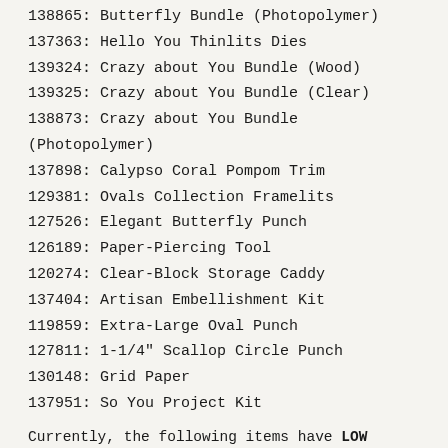138865: Butterfly Bundle (Photopolymer)
137363: Hello You Thinlits Dies
139324: Crazy about You Bundle (Wood)
139325: Crazy about You Bundle (Clear)
138873: Crazy about You Bundle (Photopolymer)
137898: Calypso Coral Pompom Trim
129381: Ovals Collection Framelits
127526: Elegant Butterfly Punch
126189: Paper-Piercing Tool
120274: Clear-Block Storage Caddy
137404: Artisan Embellishment Kit
119859: Extra-Large Oval Punch
127811: 1-1/4" Scallop Circle Punch
130148: Grid Paper
137951: So You Project Kit
Currently, the following items have LOW INVENTORY and